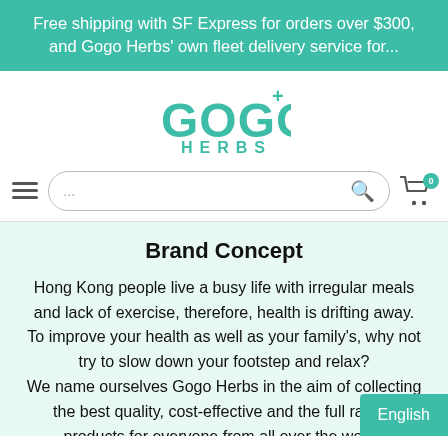Free shipping with SF Express for orders over $300, and Gogo Herbs' own fleet delivery service for...
[Figure (logo): Gogo+ Herbs logo in teal color]
...
Brand Concept
Hong Kong people live a busy life with irregular meals and lack of exercise, therefore, health is drifting away. To improve your health as well as your family's, why not try to slow down your footstep and relax?
We name ourselves Gogo Herbs in the aim of collecting the best quality, cost-effective and the full range products for everyone from all over the world,